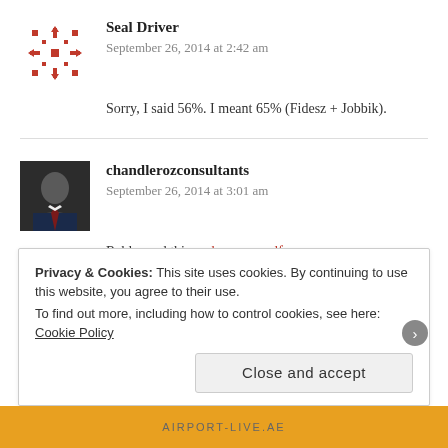Seal Driver
September 26, 2014 at 2:42 am
Sorry, I said 56%. I meant 65% (Fidesz + Jobbik).
chandlerozconsultants
September 26, 2014 at 3:01 am
Reblogged this on hungarywolf.
Privacy & Cookies: This site uses cookies. By continuing to use this website, you agree to their use.
To find out more, including how to control cookies, see here: Cookie Policy
Close and accept